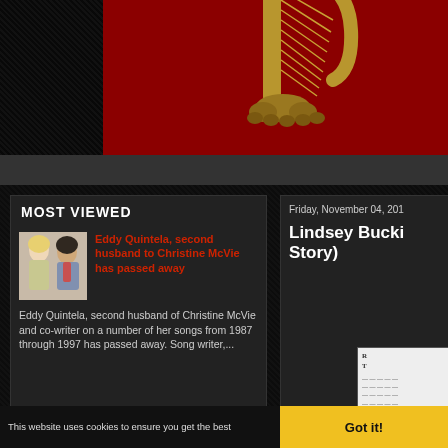[Figure (illustration): Partial view of a decorative harp graphic in gold on a dark red/maroon background, showing the bottom portion of the harp strings and base]
MOST VIEWED
Eddy Quintela, second husband to Christine McVie has passed away
Eddy Quintela, second husband of Christine McVie and co-writer on a number of her songs from 1987 through 1997 has passed away. Song writer,...
Friday, November 04, 201
Lindsey Bucki Story)
[Figure (photo): Small book or document thumbnail showing text lines]
This website uses cookies to ensure you get the best
Got it!